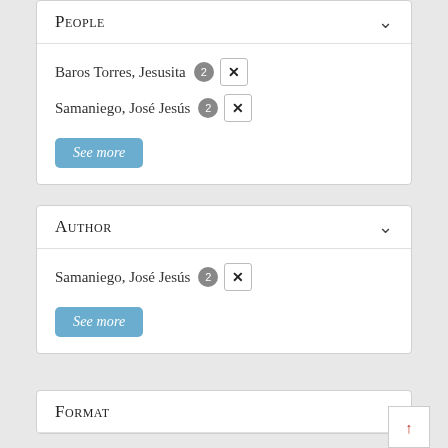People
Baros Torres, Jesusita 2 ✕
Samaniego, José Jesús 2 ✕
See more
Author
Samaniego, José Jesús 2 ✕
See more
Format